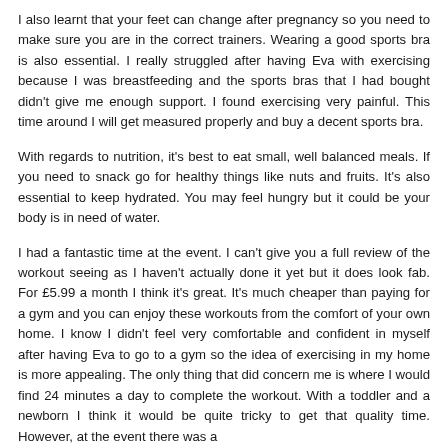I also learnt that your feet can change after pregnancy so you need to make sure you are in the correct trainers. Wearing a good sports bra is also essential. I really struggled after having Eva with exercising because I was breastfeeding and the sports bras that I had bought didn't give me enough support. I found exercising very painful. This time around I will get measured properly and buy a decent sports bra.
With regards to nutrition, it's best to eat small, well balanced meals. If you need to snack go for healthy things like nuts and fruits. It's also essential to keep hydrated. You may feel hungry but it could be your body is in need of water.
I had a fantastic time at the event. I can't give you a full review of the workout seeing as I haven't actually done it yet but it does look fab. For £5.99 a month I think it's great. It's much cheaper than paying for a gym and you can enjoy these workouts from the comfort of your own home. I know I didn't feel very comfortable and confident in myself after having Eva to go to a gym so the idea of exercising in my home is more appealing. The only thing that did concern me is where I would find 24 minutes a day to complete the workout. With a toddler and a newborn I think it would be quite tricky to get that quality time. However, at the event there was a